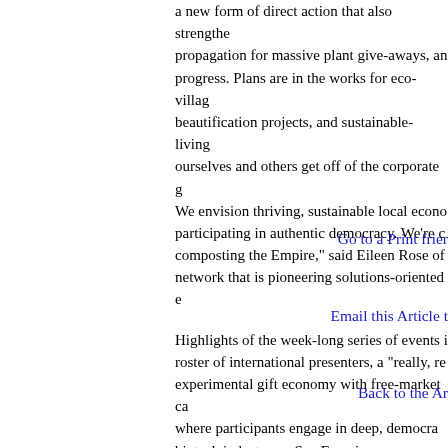a new form of direct action that also strengthe propagation for massive plant give-aways, an progress. Plans are in the works for eco-villag beautification projects, and sustainable-living ourselves and others get off of the corporate g We envision thriving, sustainable local econo participating in authentic democracy. We're c composting the Empire," said Eileen Rose of network that is pioneering solutions-oriented e
Highlights of the week-long series of events i roster of international presenters, a "really, re experimental gift economy with free-market ca where participants engage in deep, democra biotech industry on San Francisco, a peace m justice day of actions.
Go to a Print frie
Email this Article t
Back to the Ar